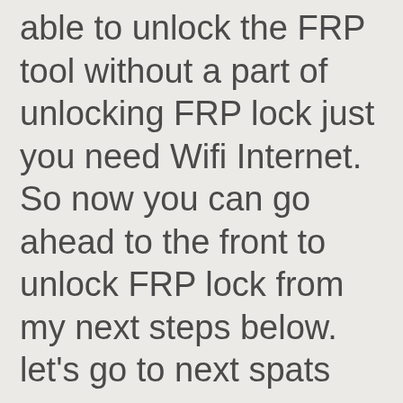able to unlock the FRP tool without a part of unlocking FRP lock just you need Wifi Internet. So now you can go ahead to the front to unlock FRP lock from my next steps below. let's go to next spats